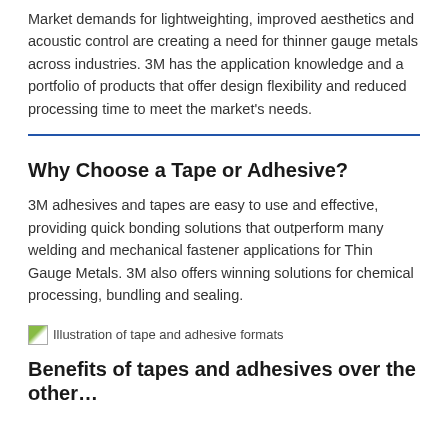Market demands for lightweighting, improved aesthetics and acoustic control are creating a need for thinner gauge metals across industries. 3M has the application knowledge and a portfolio of products that offer design flexibility and reduced processing time to meet the market's needs.
Why Choose a Tape or Adhesive?
3M adhesives and tapes are easy to use and effective, providing quick bonding solutions that outperform many welding and mechanical fastener applications for Thin Gauge Metals. 3M also offers winning solutions for chemical processing, bundling and sealing.
[Figure (illustration): Illustration of tape and adhesive formats]
Illustration of tape and adhesive formats
Benefits of tapes and adhesives over the other...